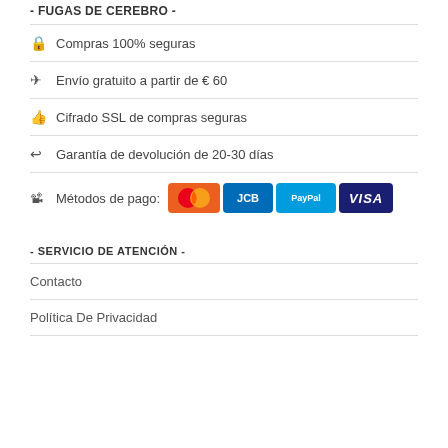- FUGAS DE CEREBRO -
🔒 Compras 100% seguras
✈ Envío gratuito a partir de € 60
👍 Cifrado SSL de compras seguras
↩ Garantía de devolución de 20-30 días
🖥 Métodos de pago: [Mastercard] [JCB] [PayPal] [VISA]
- SERVICIO DE ATENCIÓN -
Contacto
Política De Privacidad